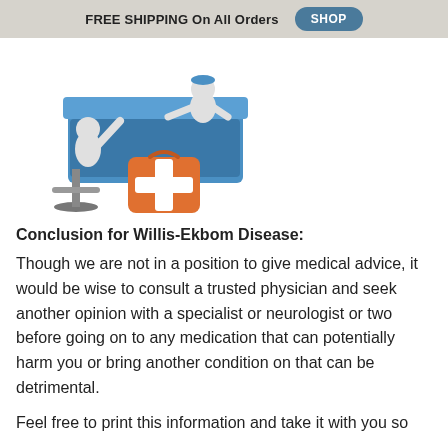FREE SHIPPING On All Orders  SHOP
[Figure (illustration): 3D illustration of two white humanoid figures at a blue desk/counter, one seated in a gray office chair, the other standing across. An orange first aid kit with a white cross sits in the foreground.]
Conclusion for Willis-Ekbom Disease:
Though we are not in a position to give medical advice, it would be wise to consult a trusted physician and seek another opinion with a specialist or neurologist or two before going on to any medication that can potentially harm you or bring another condition on that can be detrimental.
Feel free to print this information and take it with you so